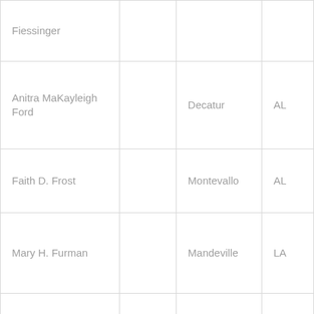| Fiessinger |  |  |  |
| Anitra MaKayleigh Ford |  | Decatur | AL |
| Faith D. Frost |  | Montevallo | AL |
| Mary H. Furman |  | Mandeville | LA |
| Gabrielle S. Gannon |  | Columbiana | AL |
| Brianna Nichole Garner |  | Montevallo | AL |